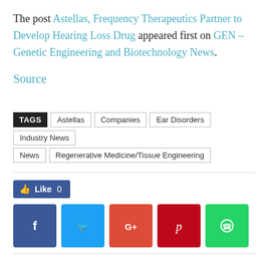The post Astellas, Frequency Therapeutics Partner to Develop Hearing Loss Drug appeared first on GEN – Genetic Engineering and Biotechnology News.
Source
TAGS: Astellas | Companies | Ear Disorders | Industry News | News | Regenerative Medicine/Tissue Engineering
[Figure (other): Like button (Facebook Like 0) and social sharing buttons: Facebook, Twitter, Google+, Pinterest, WhatsApp]